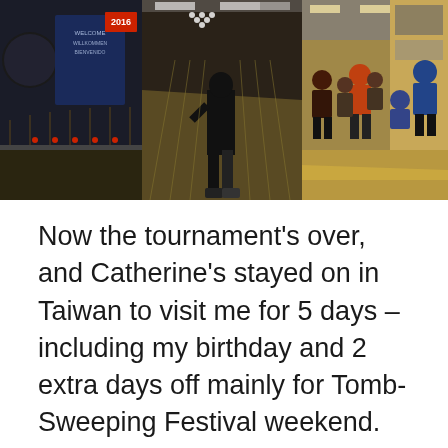[Figure (photo): Three bowling alley photos side by side: left shows a banner and bowling lanes, center shows a person standing at bowling lanes from behind, right shows people in a bowling alley venue]
Now the tournament's over, and Catherine's stayed on in Taiwan to visit me for 5 days – including my birthday and 2 extra days off mainly for Tomb-Sweeping Festival weekend. Everywhere we've gone and everyone we've met are astounded ~ after all, there's not many people quite so active at 82!  So, we've been for tea-drinking and ten-pin bowling conversation with Bishop Lai – who has his own bowling shoes and special bowling ball, and we've been to church and outings and meals all over – ever grateful to David Tan for driving us all around Taipei, meeting his friends and family, including his sister Janet for dinner and of course meeting the family horses!  Also